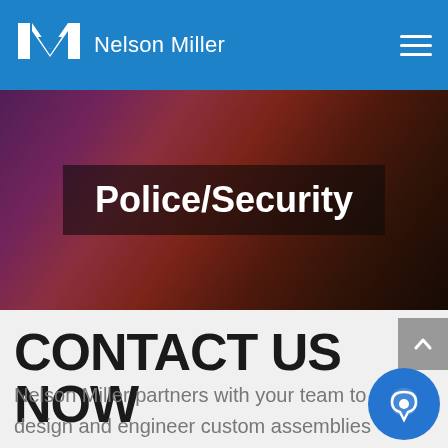Nelson Miller
[Figure (photo): Hero banner showing police/security scene with lights, dark reddish-brown tones]
Police/Security
CONTACT US NOW
Nelson Miller partners with your team to design and engineer custom assemblies and user interface components. Contact today to get started!